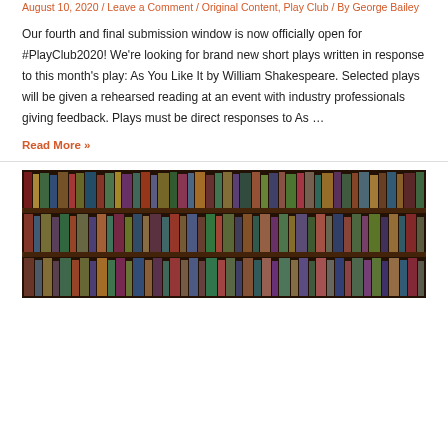August 10, 2020 / Leave a Comment / Original Content, Play Club / By George Bailey
Our fourth and final submission window is now officially open for #PlayClub2020! We're looking for brand new short plays written in response to this month's play: As You Like It by William Shakespeare. Selected plays will be given a rehearsed reading at an event with industry professionals giving feedback. Plays must be direct responses to As …
Read More »
[Figure (photo): A photograph of a large bookshelf filled with many books of various colors and sizes, arranged in multiple rows.]